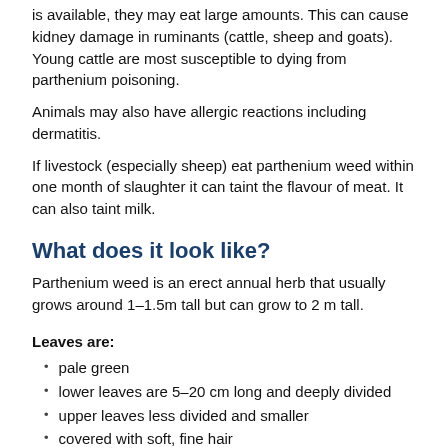is available, they may eat large amounts. This can cause kidney damage in ruminants (cattle, sheep and goats). Young cattle are most susceptible to dying from parthenium poisoning.
Animals may also have allergic reactions including dermatitis.
If livestock (especially sheep) eat parthenium weed within one month of slaughter it can taint the flavour of meat. It can also taint milk.
What does it look like?
Parthenium weed is an erect annual herb that usually grows around 1–1.5m tall but can grow to 2 m tall.
Leaves are:
pale green
lower leaves are 5–20 cm long and deeply divided
upper leaves less divided and smaller
covered with soft, fine hair
alternate on the stem.